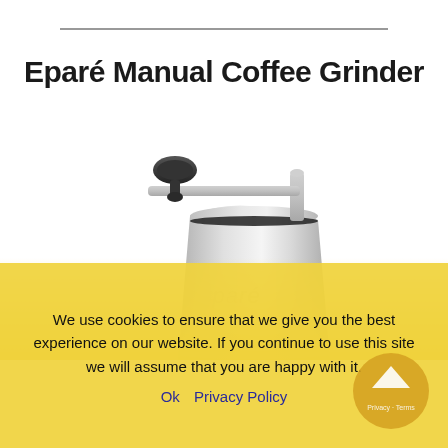Eparé Manual Coffee Grinder
[Figure (photo): Close-up photo of a stainless steel Eparé manual coffee grinder with a black handle knob and silver body, showing the top crank mechanism and cylindrical body with the eparé logo.]
We use cookies to ensure that we give you the best experience on our website. If you continue to use this site we will assume that you are happy with it.
Ok   Privacy Policy